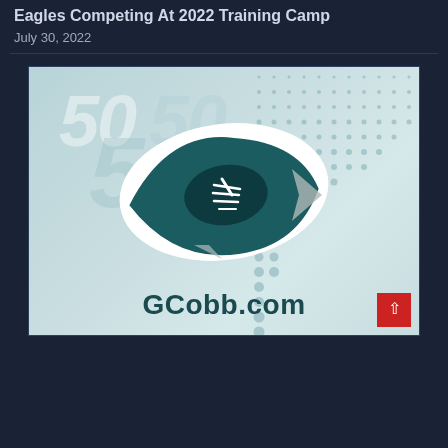Eagles Competing At 2022 Training Camp
July 30, 2022
[Figure (logo): GCobb.com sports website logo featuring a football shaped like an eye with teal and white coloring, overlaid on a faded football player wearing jersey #50, with a dot pattern background. Text 'GCobb.com' appears below the logo.]